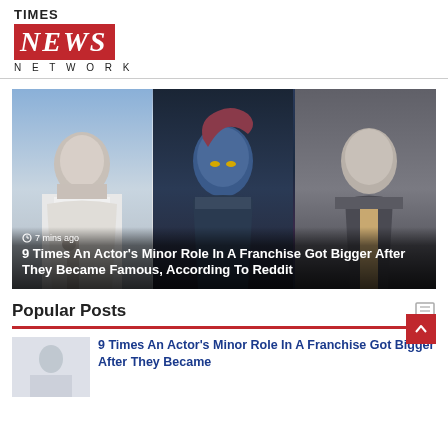TIMES NEWS NETWORK
[Figure (photo): Hero image collage: three panels showing a male performer with microphone in white suit, blue-skinned Mystique character from X-Men, and a man in suit and tie (Steve Carell). Overlay text shows '7 mins ago' and article headline.]
9 Times An Actor's Minor Role In A Franchise Got Bigger After They Became Famous, According To Reddit
Popular Posts
[Figure (photo): Thumbnail image for popular post article]
9 Times An Actor's Minor Role In A Franchise Got Bigger After They Became